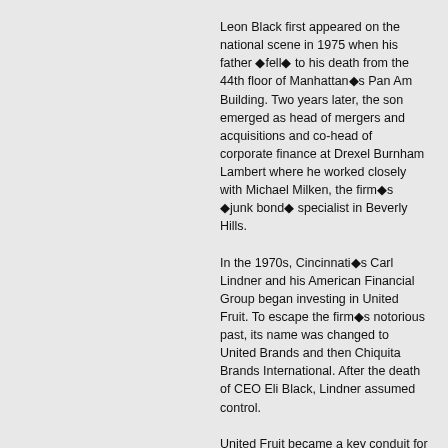Leon Black first appeared on the national scene in 1975 when his father ◆fell◆ to his death from the 44th floor of Manhattan◆s Pan Am Building. Two years later, the son emerged as head of mergers and acquisitions and co-head of corporate finance at Drexel Burnham Lambert where he worked closely with Michael Milken, the firm◆s ◆junk bond◆ specialist in Beverly Hills.
In the 1970s, Cincinnati◆s Carl Lindner and his American Financial Group began investing in United Fruit. To escape the firm◆s notorious past, its name was changed to United Brands and then Chiquita Brands International. After the death of CEO Eli Black, Lindner assumed control.
United Fruit became a key conduit for moving Israeli arms into covert wars throughout Latin America, culminating in the Iran-Contra scandal of 1987. That scandal discredited the presidency of Ronald Reagan when he was forced to concede that his administration sold arms to Iran.